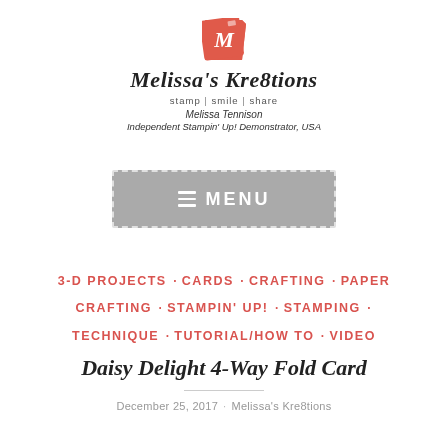[Figure (logo): Melissa's Kre8tions logo with orange/red M icon, brand name in italic serif font, tagline 'stamp | smile | share', author name Melissa Tennison, Independent Stampin' Up! Demonstrator, USA]
[Figure (screenshot): Gray menu button with dashed border, hamburger icon and text MENU in white]
3-D PROJECTS · CARDS · CRAFTING · PAPER CRAFTING · STAMPIN' UP! · STAMPING · TECHNIQUE · TUTORIAL/HOW TO · VIDEO
Daisy Delight 4-Way Fold Card
December 25, 2017   ·   Melissa's Kre8tions